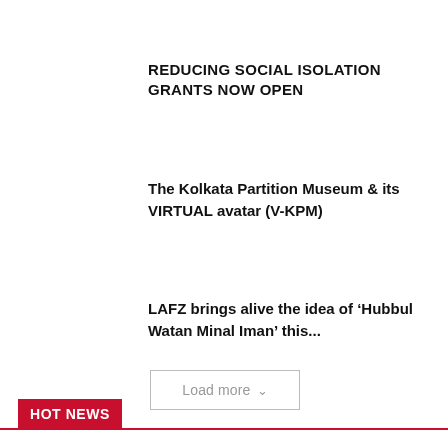REDUCING SOCIAL ISOLATION GRANTS NOW OPEN
The Kolkata Partition Museum & its VIRTUAL avatar (V-KPM)
LAFZ brings alive the idea of ‘Hubbul Watan Minal Iman’ this...
Load more
HOT NEWS